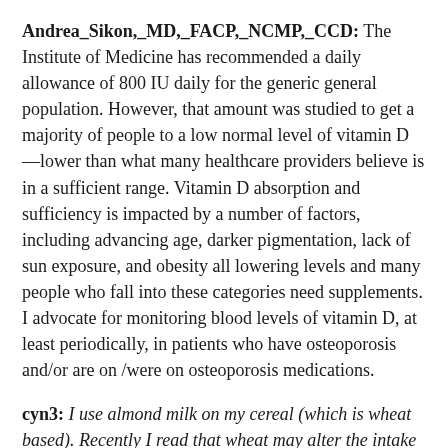Andrea_Sikon,_MD,_FACP,_NCMP,_CCD: The Institute of Medicine has recommended a daily allowance of 800 IU daily for the generic general population. However, that amount was studied to get a majority of people to a low normal level of vitamin D—lower than what many healthcare providers believe is in a sufficient range. Vitamin D absorption and sufficiency is impacted by a number of factors, including advancing age, darker pigmentation, lack of sun exposure, and obesity all lowering levels and many people who fall into these categories need supplements. I advocate for monitoring blood levels of vitamin D, at least periodically, in patients who have osteoporosis and/or are on /were on osteoporosis medications.
cyn3: I use almond milk on my cereal (which is wheat based). Recently I read that wheat may alter the intake of calcium in the body, if the two are combined together. Is this true, and are there other situations, combinations of